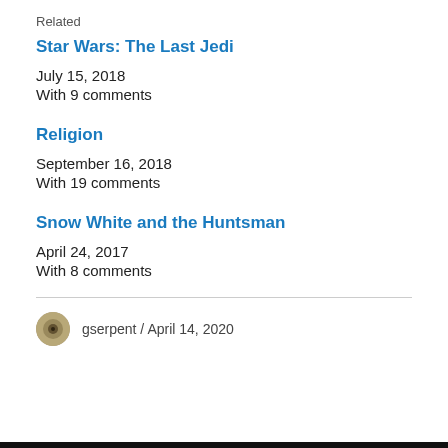Related
Star Wars: The Last Jedi
July 15, 2018
With 9 comments
Religion
September 16, 2018
With 19 comments
Snow White and the Huntsman
April 24, 2017
With 8 comments
gserpent  /  April 14, 2020